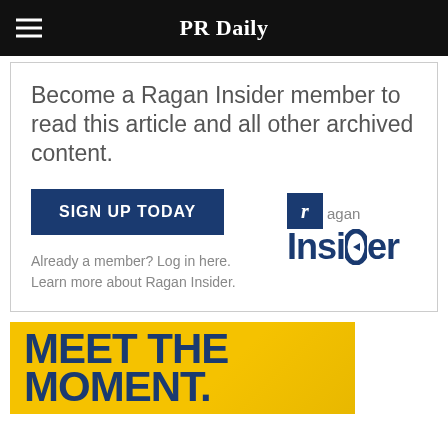PR Daily
Become a Ragan Insider member to read this article and all other archived content.
SIGN UP TODAY
Already a member? Log in here.
Learn more about Ragan Insider.
[Figure (logo): Ragan Insider logo with dark blue square containing italic r, followed by 'ragan' and 'insider' text]
[Figure (illustration): Yellow banner with dark blue bold text reading MEET THE MOMENT.]